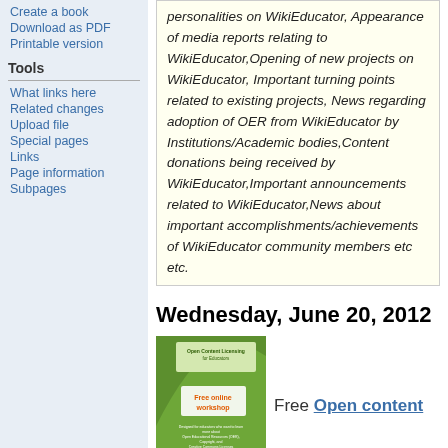Create a book
Download as PDF
Printable version
Tools
What links here
Related changes
Upload file
Special pages
Links
Page information
Subpages
personalities on WikiEducator, Appearance of media reports relating to WikiEducator,Opening of new projects on WikiEducator, Important turning points related to existing projects, News regarding adoption of OER from WikiEducator by Institutions/Academic bodies,Content donations being received by WikiEducator,Important announcements related to WikiEducator,News about important accomplishments/achievements of WikiEducator community members etc etc.
Wednesday, June 20, 2012
[Figure (photo): Open Content Licensing for Educators - Free online workshop promotional image]
Free Open content